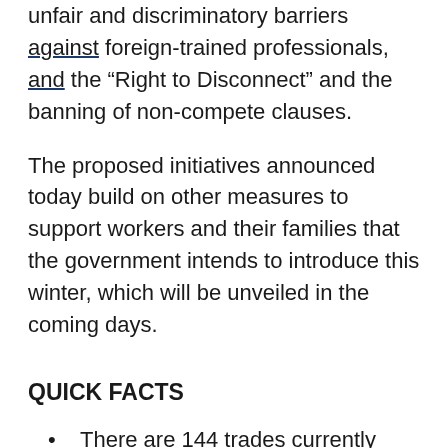unfair and discriminatory barriers against foreign-trained professionals, and the “Right to Disconnect” and the banning of non-compete clauses.
The proposed initiatives announced today build on other measures to support workers and their families that the government intends to introduce this winter, which will be unveiled in the coming days.
QUICK FACTS
There are 144 trades currently prescribed under skilled trades legislation in Ontario.
Data suggests that the need to